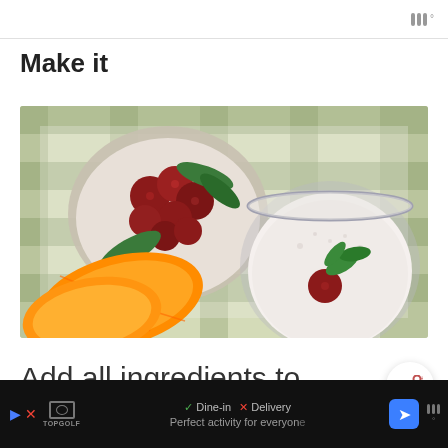|||°
Make it
[Figure (photo): Overhead view of a fruit smoothie setup: a glass bowl of frozen raspberries and spinach leaves, a glass of creamy white smoothie garnished with a raspberry and mint leaves, and two orange slices, all on a green and white checkered cloth.]
Add all ingredients to your blender, NutriBullet or another
✓ Dine-in  ✗ Delivery    Perfect activity for everyone